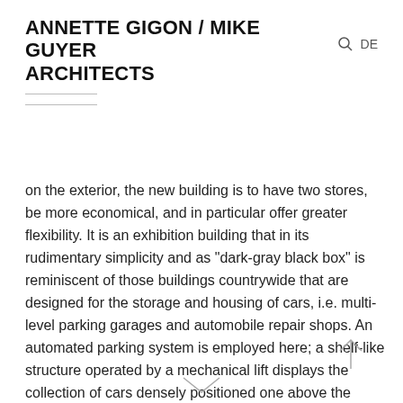ANNETTE GIGON / MIKE GUYER ARCHITECTS
on the exterior, the new building is to have two stores, be more economical, and in particular offer greater flexibility. It is an exhibition building that in its rudimentary simplicity and as “dark-gray black box” is reminiscent of those buildings countrywide that are designed for the storage and housing of cars, i.e. multi-level parking garages and automobile repair shops. An automated parking system is employed here; a shelf-like structure operated by a mechanical lift displays the collection of cars densely positioned one above the other and out of reach. At the touch of a button, visitors can move one of the cars forward to look at it close up. The open areas on the first two levels provide space for running temporary theme-based exhibitions. A workshop shows the visitors how the vehicles are maintained and repaired.